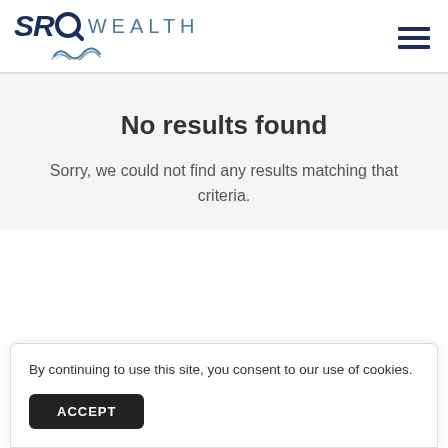SRQ WEALTH
No results found
Sorry, we could not find any results matching that criteria.
By continuing to use this site, you consent to our use of cookies.